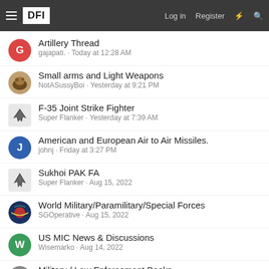DFI | Log in | Register
Artillery Thread — gajapati. · Today at 12:28 AM
Small arms and Light Weapons — NotASussyBoi · Yesterday at 9:21 PM
F-35 Joint Strike Fighter — Super Flanker · Yesterday at 7:39 AM
American and European Air to Air Missiles. — johnj · Friday at 3:27 PM
Sukhoi PAK FA — Super Flanker · Aug 15, 2022
World Military/Paramilitary/Special Forces — SGOperative · Aug 15, 2022
US MIC News & Discussions — Wisemarko · Aug 14, 2022
Military / Law Enforcement Books — skunk works · Aug 13, 2022